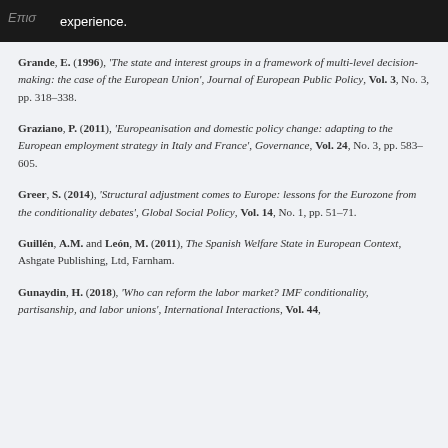Grande, E. (1996), 'The state and interest groups in a framework of multi-level decision-making: the case of the European Union', Journal of European Public Policy, Vol. 3, No. 3, pp. 318–338.
Graziano, P. (2011), 'Europeanisation and domestic policy change: adapting to the European employment strategy in Italy and France', Governance, Vol. 24, No. 3, pp. 583–605.
Greer, S. (2014), 'Structural adjustment comes to Europe: lessons for the Eurozone from the conditionality debates', Global Social Policy, Vol. 14, No. 1, pp. 51–71.
Guillén, A.M. and León, M. (2011), The Spanish Welfare State in European Context, Ashgate Publishing, Ltd, Farnham.
Gunaydin, H. (2018), 'Who can reform the labor market? IMF conditionality, partisanship, and labor unions', International Interactions, Vol. 44,